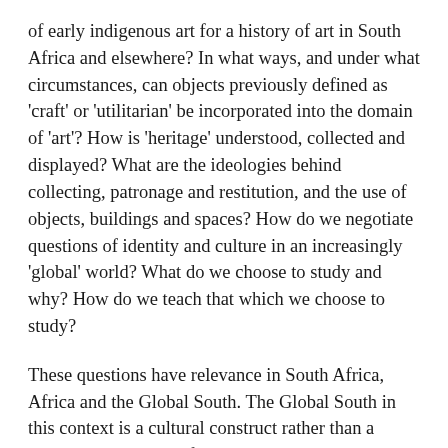of early indigenous art for a history of art in South Africa and elsewhere? In what ways, and under what circumstances, can objects previously defined as 'craft' or 'utilitarian' be incorporated into the domain of 'art'? How is 'heritage' understood, collected and displayed? What are the ideologies behind collecting, patronage and restitution, and the use of objects, buildings and spaces? How do we negotiate questions of identity and culture in an increasingly 'global' world? What do we choose to study and why? How do we teach that which we choose to study?
These questions have relevance in South Africa, Africa and the Global South. The Global South in this context is a cultural construct rather than a geographic term. It refers to communities and artistic production, throughout history and across nations, which, within the dominant narratives of western art, have been ignored, marginalised, displaced and appropriated. The Global South may include eastern bloc artists largely unknown to the west during the Cold War, items